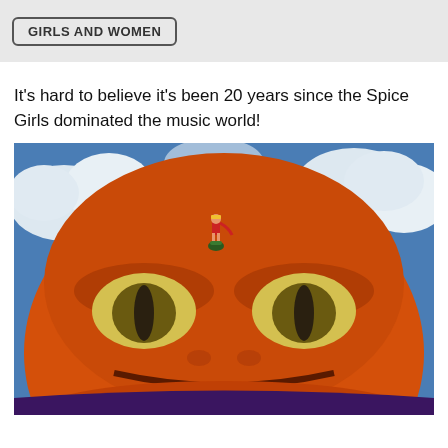GIRLS AND WOMEN
It's hard to believe it's been 20 years since the Spice Girls dominated the music world!
[Figure (illustration): Anime illustration from Naruto showing a small ninja character (Naruto) standing on top of a large orange toad (Gamabunta) with angry yellow eyes, set against a blue sky with white clouds background.]